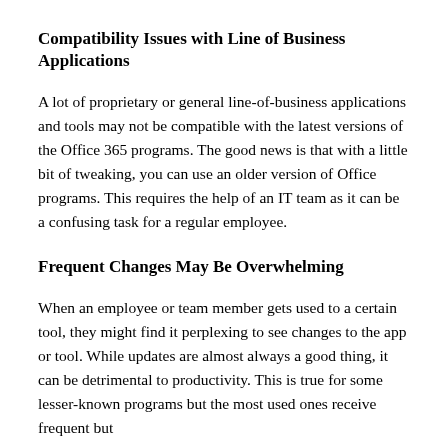Compatibility Issues with Line of Business Applications
A lot of proprietary or general line-of-business applications and tools may not be compatible with the latest versions of the Office 365 programs. The good news is that with a little bit of tweaking, you can use an older version of Office programs. This requires the help of an IT team as it can be a confusing task for a regular employee.
Frequent Changes May Be Overwhelming
When an employee or team member gets used to a certain tool, they might find it perplexing to see changes to the app or tool. While updates are almost always a good thing, it can be detrimental to productivity. This is true for some lesser-known programs but the most used ones receive frequent but